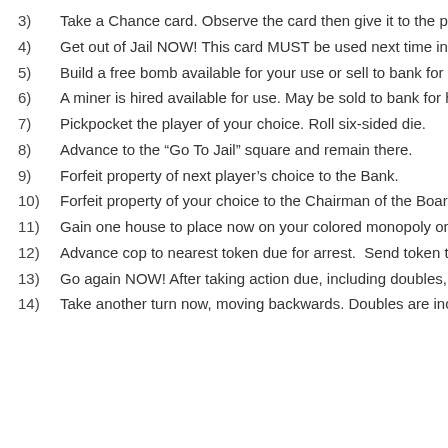3) Take a Chance card. Observe the card then give it to the player of your cho
4) Get out of Jail NOW! This card MUST be used next time in Jail.
5) Build a free bomb available for your use or sell to bank for half value ($100
6) A miner is hired available for use. May be sold to bank for half value ($125)
7) Pickpocket the player of your choice. Roll six-sided die.
8) Advance to the “Go To Jail” square and remain there.
9) Forfeit property of next player’s choice to the Bank.
10) Forfeit property of your choice to the Chairman of the Board. If you are the
11) Gain one house to place now on your colored monopoly or may be kept O
12) Advance cop to nearest token due for arrest. Send token to Jail. If no toke
13) Go again NOW! After taking action due, including doubles, go to Jail. (Th
14) Take another turn now, moving backwards. Doubles are included.